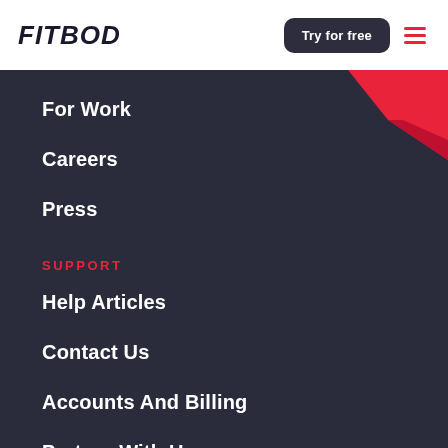FITBOD
For Work
Careers
Press
SUPPORT
Help Articles
Contact Us
Accounts And Billing
Partner With Us